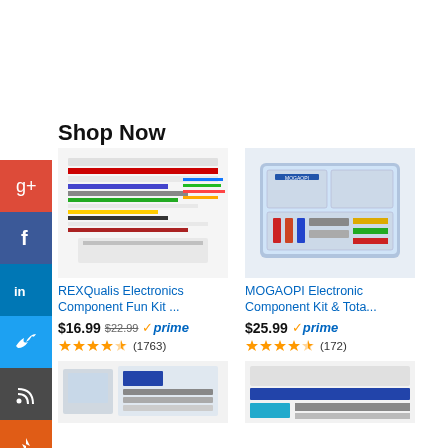Shop Now
[Figure (photo): REXQualis Electronics Component Fun Kit - electronics components laid out]
REXQualis Electronics Component Fun Kit ...
$16.99  $22.99  prime  (1763)
[Figure (photo): MOGAOPI Electronic Component Kit & Total... - kit in plastic case]
MOGAOPI Electronic Component Kit & Tota...
$25.99  prime  (172)
[Figure (photo): Electronics kit product image bottom left]
[Figure (photo): Electronics kit product image bottom right]